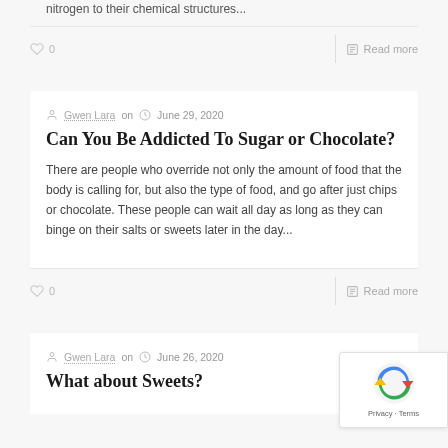nitrogen to their chemical structures...
♡ 0    |    Read more
Gwen Lara on   June 29, 2020
Can You Be Addicted To Sugar or Chocolate?
There are people who override not only the amount of food that the body is calling for, but also the type of food, and go after just chips or chocolate. These people can wait all day as long as they can binge on their salts or sweets later in the day...
♡ 0    |    Read more
Gwen Lara on   June 26, 2020
What about Sweets?